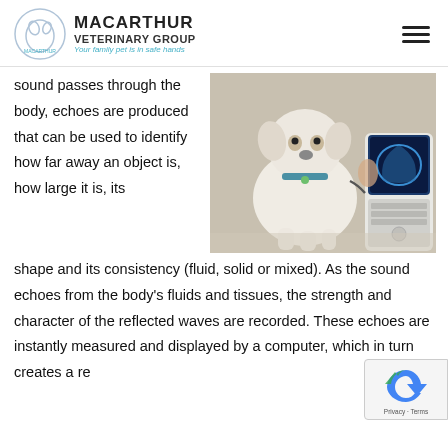MACARTHUR VETERINARY GROUP — Your family pet is in safe hands
sound passes through the body, echoes are produced that can be used to identify how far away an object is, how large it is, its shape and its consistency (fluid, solid or mixed). As the sound echoes from the body's fluids and tissues, the strength and character of the reflected waves are recorded. These echoes are instantly measured and displayed by a computer, which in turn creates a re... picture on the monitor. The "live" is one of the
[Figure (photo): A white fluffy dog standing next to an ultrasound machine with a monitor showing an ultrasound image in blue.]